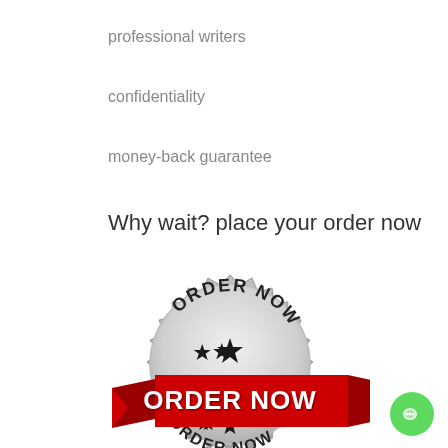professional writers
confidentiality
money-back guarantee
Why wait? place your order now
[Figure (illustration): A silver badge/seal with jagged edges, text reading ORDER NOW at the top and bottom around a three-star motif, overlaid with a large red ribbon banner with bold white text ORDER NOW]